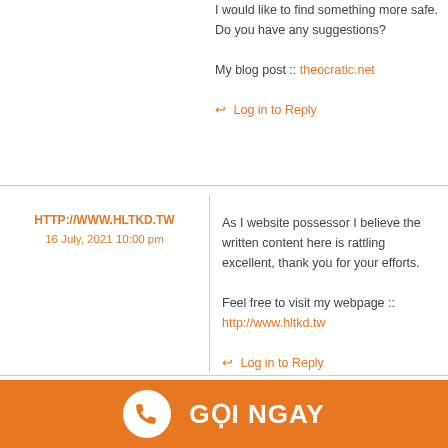I would like to find something more safe. Do you have any suggestions?
My blog post :: theocratic.net
↩ Log in to Reply
HTTP://WWW.HLTKD.TW
16 July, 2021 10:00 pm
As I website possessor I believe the written content here is rattling excellent, thank you for your efforts.
Feel free to visit my webpage :: http://www.hltkd.tw
↩ Log in to Reply
GỌI NGAY